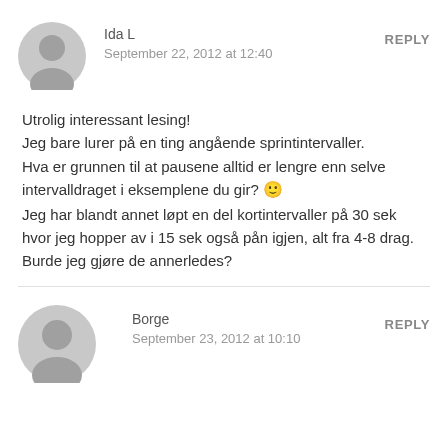Ida L
REPLY
September 22, 2012 at 12:40
Utrolig interessant lesing!
Jeg bare lurer på en ting angående sprintintervaller.
Hva er grunnen til at pausene alltid er lengre enn selve intervalldraget i eksemplene du gir? 🙂
Jeg har blandt annet løpt en del kortintervaller på 30 sek hvor jeg hopper av i 15 sek også pån igjen, alt fra 4-8 drag.
Burde jeg gjøre de annerledes?
Borge
REPLY
September 23, 2012 at 10:10